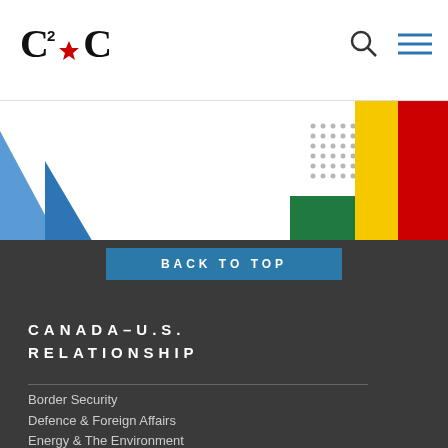C2C (logo) — Canada to Canada — navigation header with search and menu icons
[Figure (illustration): Decorative geometric shapes: blue triangles on left, green horizontal bar in center, dot grid patterns, and yellow and red vertical blocks on right forming a colorful abstract banner]
BACK TO TOP
CANADA-U.S. RELATIONSHIP
Border Security
Defence & Foreign Affairs
Energy & The Environment